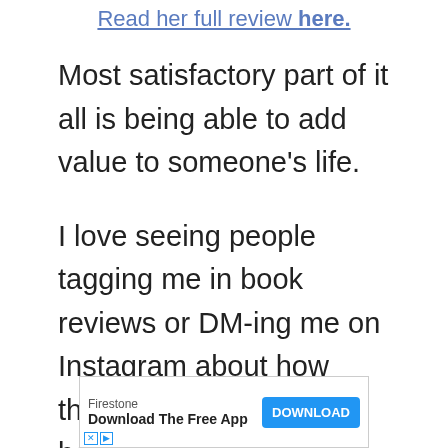Read her full review here.
Most satisfactory part of it all is being able to add value to someone’s life.
I love seeing people tagging me in book reviews or DM-ing me on Instagram about how they picked up a book because of my review.
[Figure (other): Advertisement banner for Firestone app: 'Download The Free App' with a blue DOWNLOAD button and ad badge icons.]